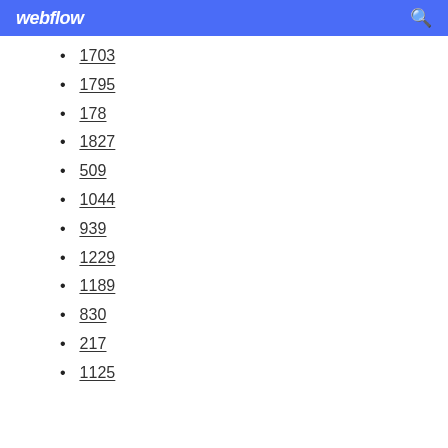webflow
1703
1795
178
1827
509
1044
939
1229
1189
830
217
1125